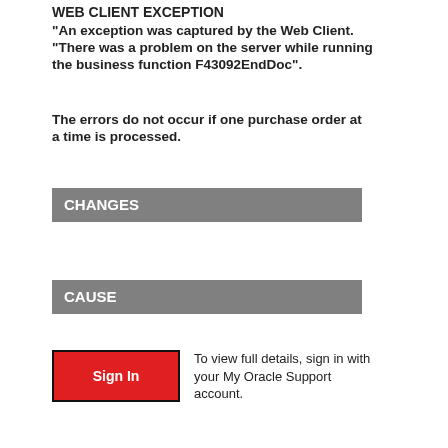WEB CLIENT EXCEPTION
"An exception was captured by the Web Client. “There was a problem on the server while running the business function F43092EndDoc”.
The errors do not occur if one purchase order at a time is processed.
CHANGES
CAUSE
To view full details, sign in with your My Oracle Support account.